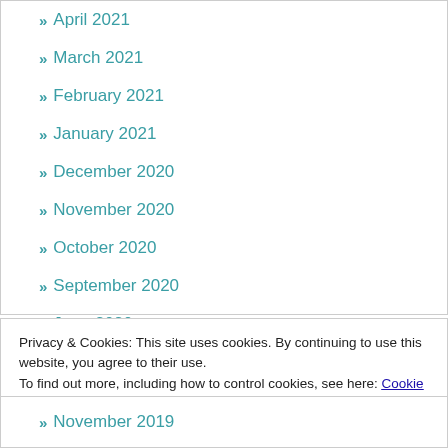» April 2021
» March 2021
» February 2021
» January 2021
» December 2020
» November 2020
» October 2020
» September 2020
» June 2020
» May 2020
» April 2020
Privacy & Cookies: This site uses cookies. By continuing to use this website, you agree to their use. To find out more, including how to control cookies, see here: Cookie Policy
Close and accept
» November 2019